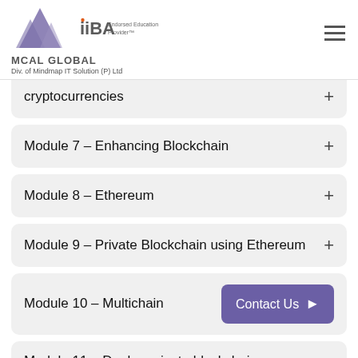MCAL GLOBAL — Div. of Mindmap IT Solution (P) Ltd — IIBA Endorsed Education Provider
cryptocurrencies
Module 7 – Enhancing Blockchain
Module 8 – Ethereum
Module 9 – Private Blockchain using Ethereum
Module 10 – Multichain
Module 11 – Deploy private blockchain